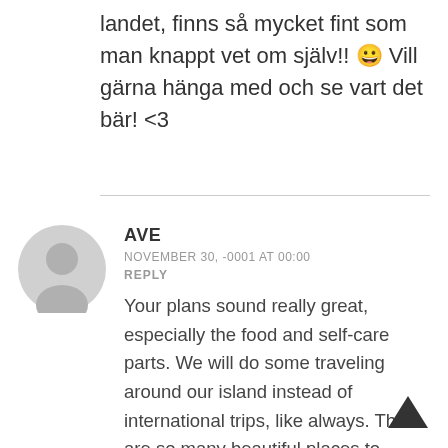landet, finns så mycket fint som man knappt vet om själv!! 😀 Vill gärna hänga med och se vart det bär! <3
AVE
NOVEMBER 30, -0001 AT 00:00
REPLY
Your plans sound really great, especially the food and self-care parts. We will do some traveling around our island instead of international trips, like always. There are so many beautiful places to discover here too.